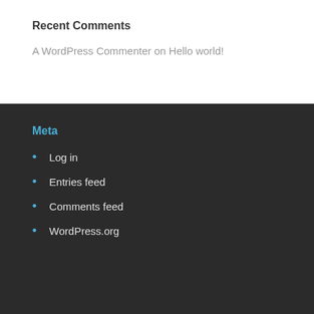Recent Comments
A WordPress Commenter on Hello world!
Meta
Log in
Entries feed
Comments feed
WordPress.org